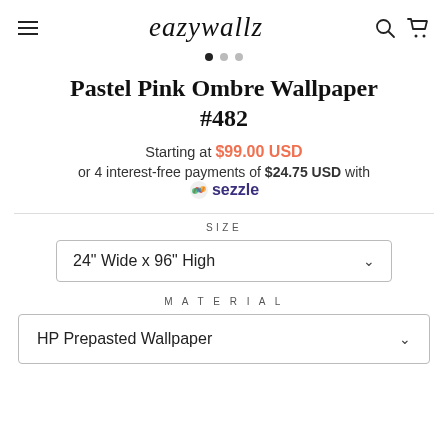eazywallz
Pastel Pink Ombre Wallpaper #482
Starting at $99.00 USD
or 4 interest-free payments of $24.75 USD with Sezzle
SIZE
24" Wide x 96" High
MATERIAL
HP Prepasted Wallpaper